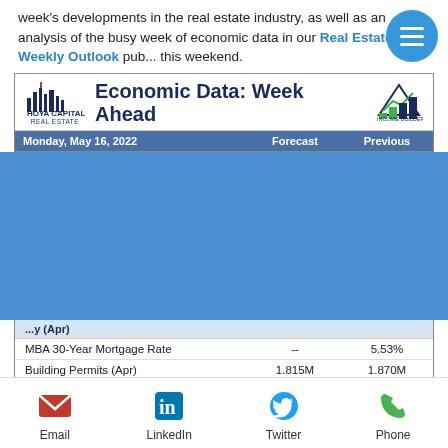week's developments in the real estate industry, as well as an analysis of the busy week of economic data in our Real Estate Weekly Outlook pub... this weekend.
[Figure (other): Hoya Capital Real Estate 'Economic Data: Week Ahead' card header with logo and Income Builder icon]
| Monday, May 16, 2022 | Forecast | Previous |
| --- | --- | --- |
| MBA 30-Year Mortgage Rate | -- | 5.53% |
| Building Permits (Apr) | 1.815M | 1.870M |
| Housing Starts (Apr) | 1.760M | 1.793M |
| Thursday, May 19, 2022 |  |  |
| Initial Jobless Claims | 200K | 203K |
| Continuing Jobless Claims (truncated) | 1.000K+ | 1.040K+ |
[Figure (other): Social media footer bar with Email, LinkedIn, Twitter, Phone icons]